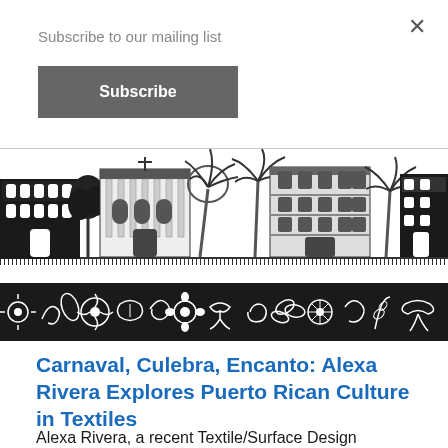Subscribe to our mailing list
Subscribe
[Figure (illustration): Black and white illustration banner showing Puerto Rican colonial architecture buildings with palm trees on top, and a decorative black band below with white floral and Taino-inspired patterns.]
Carnaval, Culebra, Encanto: Alexa Rivera Explores Puerto Rican Culture in Textiles
Alexa Rivera, a recent Textile/Surface Design graduate who took Prof. Susanne Goetz's advanced screen printing class last semester, created a collection of designs inspired by Puerto Rico. The collection combines the island's Taino